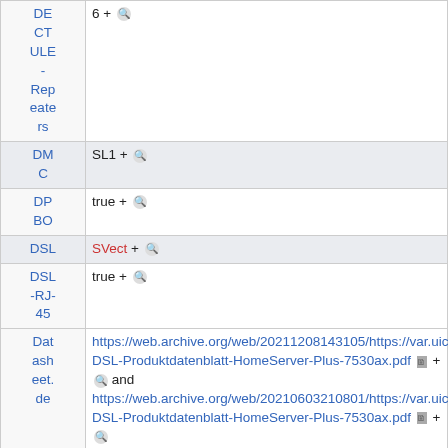| Property | Value |
| --- | --- |
| DE CT ULE - Repeaters | 6 + 🔍 |
| DMC | SL1 + 🔍 |
| DPBO | true + 🔍 |
| DSL | SVect + 🔍 |
| DSL-RJ-45 | true + 🔍 |
| Datasheet.de | https://web.archive.org/web/20211208143105/https://var.uicdn.net/pdfs/1und1-DSL-Produktdatenblatt-HomeServer-Plus-7530ax.pdf 🗎 + 🔍 and https://web.archive.org/web/20210603210801/https://var.uicdn.net/pdfs/1und1-DSL-Produktdatenblatt-HomeServer-Plus-7530ax.pdf 🗎 + 🔍 |